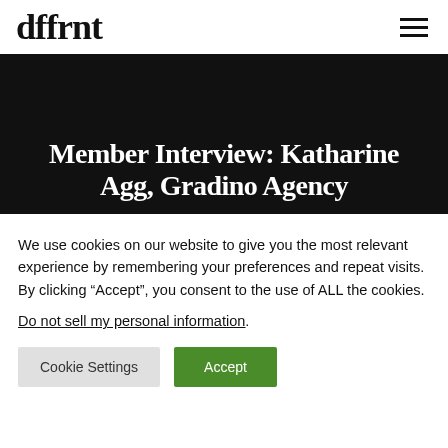dffrnt
Member Interview: Katharine Agg, Gradino Agency
We use cookies on our website to give you the most relevant experience by remembering your preferences and repeat visits. By clicking “Accept”, you consent to the use of ALL the cookies.
Do not sell my personal information.
Cookie Settings | Accept